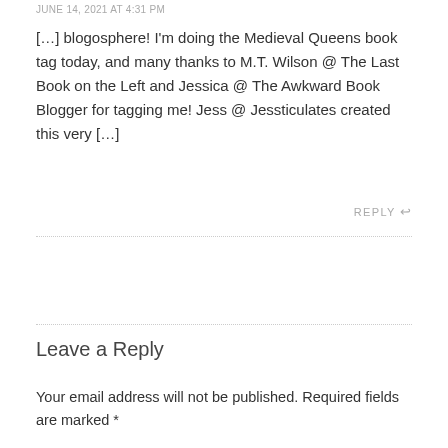JUNE 14, 2021 AT 4:31 PM
[…] blogosphere! I'm doing the Medieval Queens book tag today, and many thanks to M.T. Wilson @ The Last Book on the Left and Jessica @ The Awkward Book Blogger for tagging me! Jess @ Jessticulates created this very […]
REPLY ↩
Leave a Reply
Your email address will not be published. Required fields are marked *